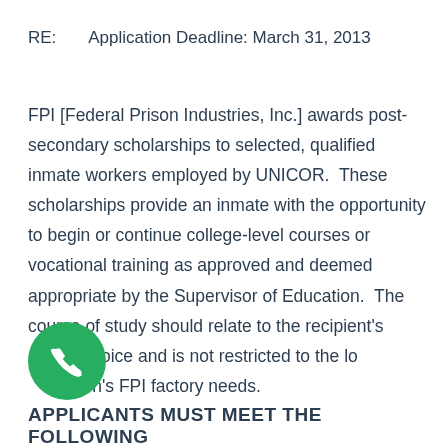RE:      Application Deadline: March 31, 2013
FPI [Federal Prison Industries, Inc.] awards post-secondary scholarships to selected, qualified inmate workers employed by UNICOR.  These scholarships provide an inmate with the opportunity to begin or continue college-level courses or vocational training as approved and deemed appropriate by the Supervisor of Education.  The course of study should relate to the recipient's career choice and is not restricted to the local institution's FPI factory needs.
[Figure (illustration): Green circle with white telephone handset icon]
APPLICANTS MUST MEET THE FOLLOWING